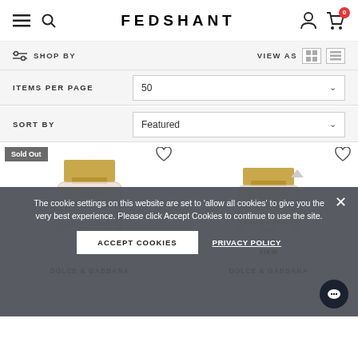FEDSHANT
SHOP BY   VIEW AS
ITEMS PER PAGE   50
SORT BY   Featured
[Figure (photo): Two Dolce & Gabbana perfume bottles, left one with 'Sold Out' badge and heart/wishlist icons, 'QUICK VIEW' overlays on both]
DOLCE & GABBANA   DOLCE & GABBANA
The cookie settings on this website are set to 'allow all cookies' to give you the very best experience. Please click Accept Cookies to continue to use the site.
ACCEPT COOKIES   PRIVACY POLICY